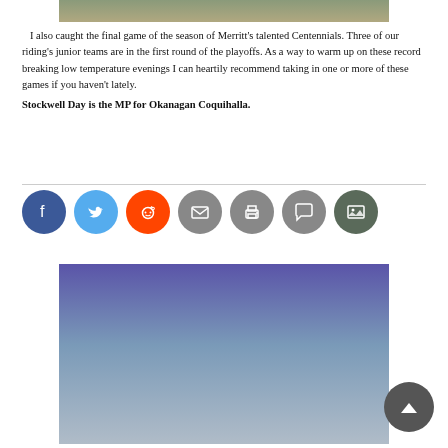[Figure (photo): Top cropped photo of vehicles or machinery outdoors]
I also caught the final game of the season of Merritt's talented Centennials. Three of our riding's junior teams are in the first round of the playoffs. As a way to warm up on these record breaking low temperature evenings I can heartily recommend taking in one or more of these games if you haven't lately.
Stockwell Day is the MP for Okanagan Coquihalla.
[Figure (infographic): Social sharing icons: Facebook, Twitter, Reddit, Email, Print, Comment, Gallery]
[Figure (photo): Large photo with blue-purple to grey gradient sky background]